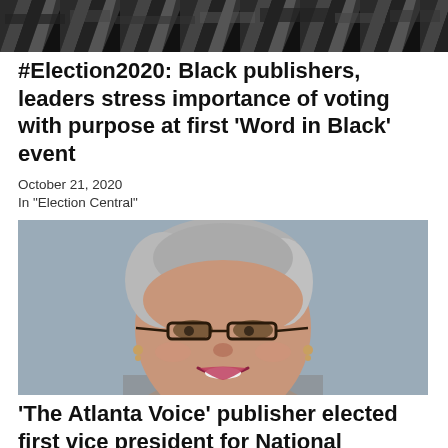[Figure (photo): Cropped black and white newspaper-style header image with dark diagonal text/graphic patterns]
#Election2020: Black publishers, leaders stress importance of voting with purpose at first 'Word in Black' event
October 21, 2020
In "Election Central"
[Figure (photo): Portrait photo of a woman with gray hair and glasses, smiling, wearing earrings]
'The Atlanta Voice' publisher elected first vice president for National Newspaper Publisher's Association